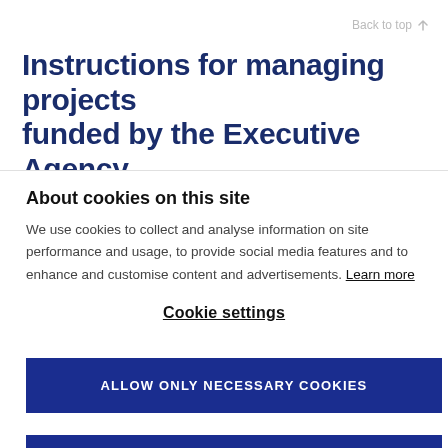Back to top ↑
Instructions for managing projects funded by the Executive Agency
About cookies on this site
We use cookies to collect and analyse information on site performance and usage, to provide social media features and to enhance and customise content and advertisements. Learn more
Cookie settings
ALLOW ONLY NECESSARY COOKIES
ALLOW ALL COOKIES